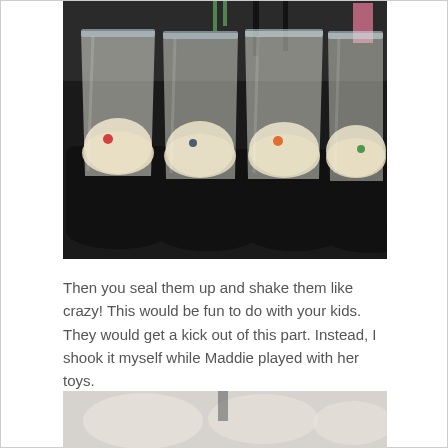[Figure (photo): Four clear plastic zip-lock bags filled with white rice sitting in dark/black bowls or containers on a countertop. Each bag has a small colored item (red, blue/dark, orange, green) visible inside. The bags are open at the top. Background shows a kitchen setting.]
Then you seal them up and shake them like crazy! This would be fun to do with your kids. They would get a kick out of this part. Instead, I shook it myself while Maddie played with her toys.
[Figure (photo): Partial view of another photo at the bottom of the page, showing what appears to be bags or containers with a blurred/pale appearance.]